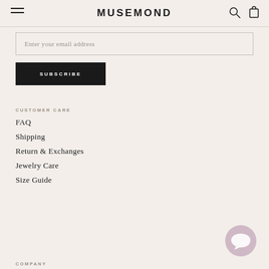MUSEMOND
Enter your email address
SUBSCRIBE
CUSTOMER CARE
FAQ
Shipping
Return & Exchanges
Jewelry Care
Size Guide
COMPANY
[Figure (illustration): Chat support bubble icon in muted mauve/pink color, bottom right corner]